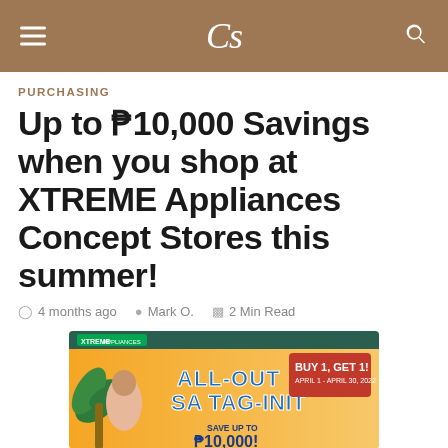CS
PURCHASING
Up to ₱10,000 Savings when you shop at XTREME Appliances Concept Stores this summer!
4 months ago   Mark O.   2 Min Read
[Figure (photo): XTREME Appliances promotional banner: All-Out Sa Tag-Init summer sale. Buy 1, Get 1 April 1 - April 30, 2022. Save up to ₱10,000. Features a woman and tropical palm tree imagery on an orange background.]